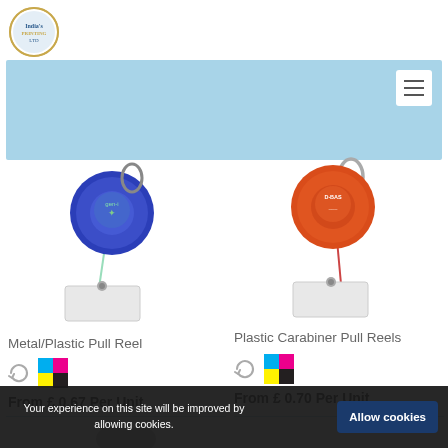[Figure (logo): Circular logo for a printing company with gold border]
[Figure (photo): Blue retractable badge pull reel with white badge holder clip, Metal/Plastic style]
[Figure (photo): Red plastic carabiner retractable pull reel with white badge holder clip]
Metal/Plastic Pull Reel
Plastic Carabiner Pull Reels
From £ 0.67 Per Unit
From £ 0.70 Per Unit
Your experience on this site will be improved by allowing cookies.